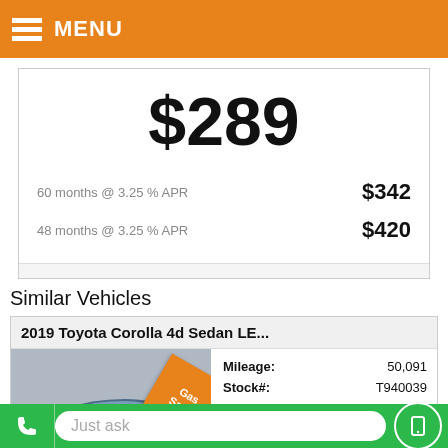MENU
$289
60 months @ 3.25 % APR   $342
48 months @ 3.25 % APR   $420
Similar Vehicles
2019 Toyota Corolla 4d Sedan LE...
[Figure (photo): Blue 2019 Toyota Corolla 4d Sedan with Gas Saver II ribbon badge]
|  |  |
| --- | --- |
| Mileage: | 50,091 |
| Stock#: | T940039 |
| VIN: | 5YFBURHEXKP940039 |
| Internet Price: | $20,779 |
Just ask